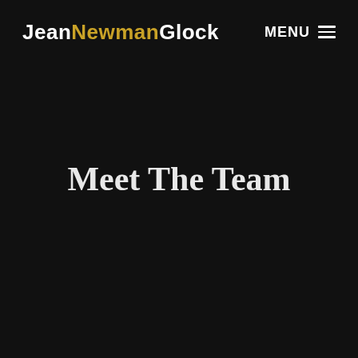JeanNewmanGlock  MENU ☰
Meet The Team